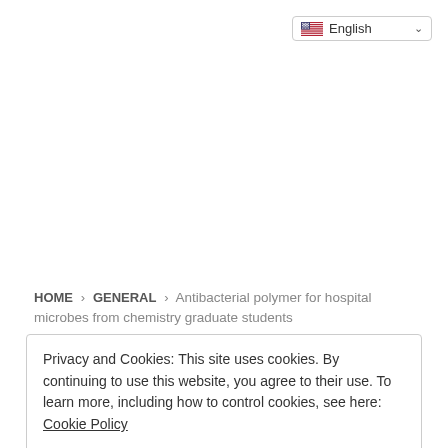[Figure (screenshot): Language selector dropdown showing a US flag and 'English' text with a chevron arrow, positioned in the top-right corner]
HOME > GENERAL > Antibacterial polymer for hospital microbes from chemistry graduate students
Privacy and Cookies: This site uses cookies. By continuing to use this website, you agree to their use. To learn more, including how to control cookies, see here: Cookie Policy
Accept and Close